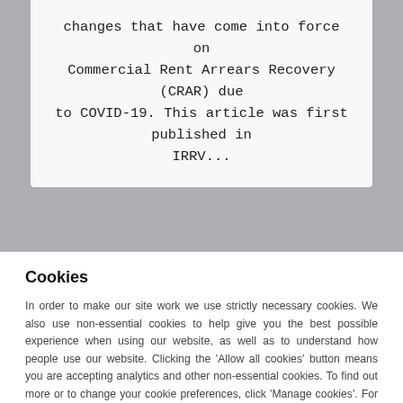changes that have come into force on Commercial Rent Arrears Recovery (CRAR) due to COVID-19. This article was first published in IRRV...
Cookies
In order to make our site work we use strictly necessary cookies. We also use non-essential cookies to help give you the best possible experience when using our website, as well as to understand how people use our website. Clicking the 'Allow all cookies' button means you are accepting analytics and other non-essential cookies. To find out more or to change your cookie preferences, click 'Manage cookies'. For detailed information about how we use cookies on our site, see our Privacy Policy.
Manage Cookies
Allow all cookies